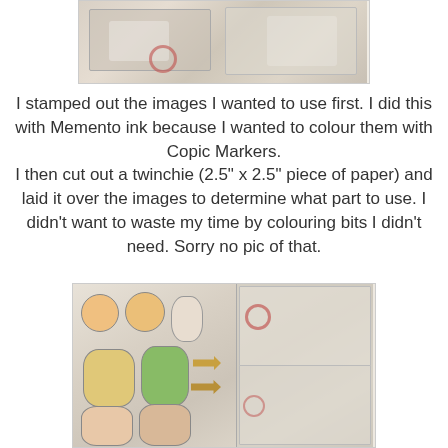[Figure (photo): Photo of stamped images on paper with stamp packaging visible]
I stamped out the images I wanted to use first. I did this with Memento ink because I wanted to colour them with Copic Markers.
I then cut out a twinchie (2.5" x 2.5" piece of paper) and laid it over the images to determine what part to use. I didn't want to waste my time by colouring bits I didn't need. Sorry no pic of that.
[Figure (photo): Photo of coloured Alice in Wonderland character cutouts next to stamp packaging]